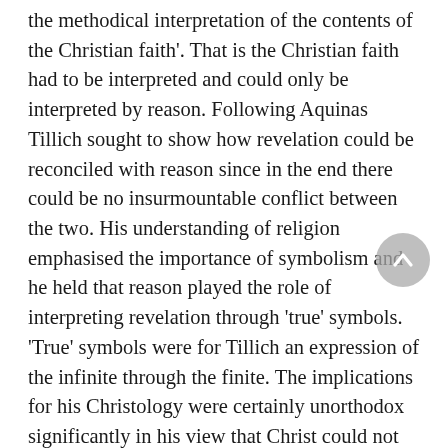the methodical interpretation of the contents of the Christian faith'. That is the Christian faith had to be interpreted and could only be interpreted by reason. Following Aquinas Tillich sought to show how revelation could be reconciled with reason since in the end there could be no insurmountable conflict between the two. His understanding of religion emphasised the importance of symbolism and he held that reason played the role of interpreting revelation through 'true' symbols. 'True' symbols were for Tillich an expression of the infinite through the finite. The implications for his Christology were certainly unorthodox significantly in his view that Christ could not be identified with God in any literal sense but rather a symbolic revelation from God of what humanity ought to be. Tillich's work also attracted interest and exerted influence beyond theological readership most notably in his work on existentialism as expressed in The Courage to Be published in 1952.